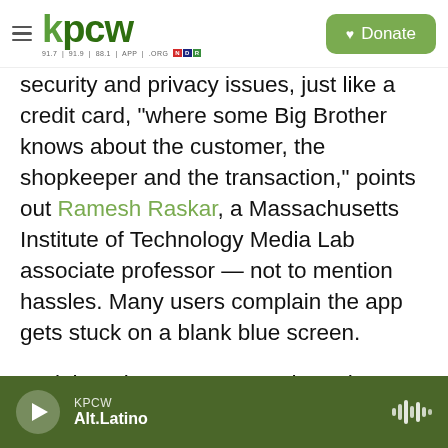KPCW — 91.7 | 91.9 | 88.1 | APP | .ORG — Donate
security and privacy issues, just like a credit card, "where some Big Brother knows about the customer, the shopkeeper and the transaction," points out Ramesh Raskar, a Massachusetts Institute of Technology Media Lab associate professor — not to mention hassles. Many users complain the app gets stuck on a blank blue screen.
And there is no guarantee that other states will be able or willing to use the app from your home state. Most current credential systems can only be verified by the apps in the state by which they're
KPCW — Alt.Latino